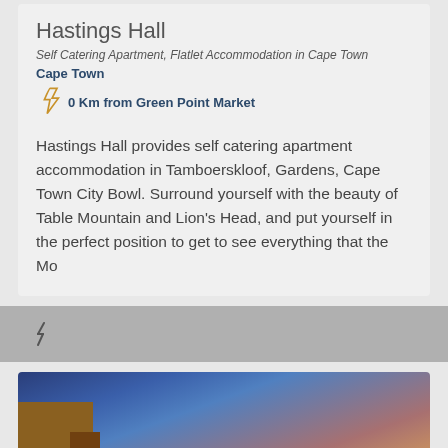Hastings Hall
Self Catering Apartment, Flatlet Accommodation in Cape Town
Cape Town
0 Km from Green Point Market
Hastings Hall provides self catering apartment accommodation in Tamboerskloof, Gardens, Cape Town City Bowl. Surround yourself with the beauty of Table Mountain and Lion's Head, and put yourself in the perfect position to get to see everything that the Mo
[Figure (other): Lightning bolt icon on grey banner]
[Figure (photo): Photo of building exterior against blue and warm-toned sunset sky]